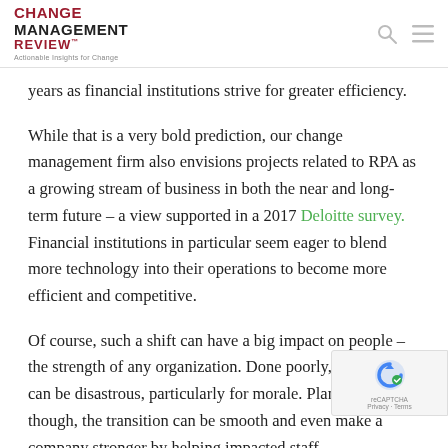CHANGE MANAGEMENT REVIEW™ — Actionable Insights for Change
years as financial institutions strive for greater efficiency.
While that is a very bold prediction, our change management firm also envisions projects related to RPA as a growing stream of business in both the near and long-term future – a view supported in a 2017 Deloitte survey. Financial institutions in particular seem eager to blend more technology into their operations to become more efficient and competitive.
Of course, such a shift can have a big impact on people – the strength of any organization. Done poorly, the results can be disastrous, particularly for morale. Planned well, though, the transition can be smooth and even make a company stronger by helping impacted staff